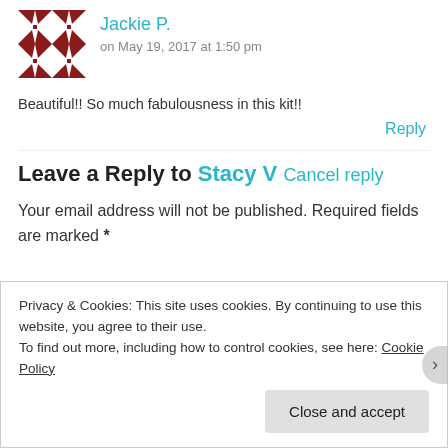[Figure (illustration): Avatar image: dark red/maroon geometric quilt-pattern square icon]
Jackie P.
on May 19, 2017 at 1:50 pm
Beautiful!! So much fabulousness in this kit!!
Reply
Leave a Reply to Stacy V Cancel reply
Your email address will not be published. Required fields are marked *
Privacy & Cookies: This site uses cookies. By continuing to use this website, you agree to their use.
To find out more, including how to control cookies, see here: Cookie Policy
Close and accept